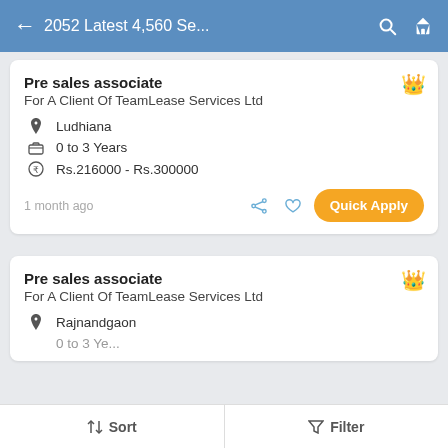2052 Latest 4,560 Se...
Pre sales associate
For A Client Of TeamLease Services Ltd
Ludhiana
0 to 3 Years
Rs.216000 - Rs.300000
1 month ago
Pre sales associate
For A Client Of TeamLease Services Ltd
Rajnandgaon
Sort   Filter